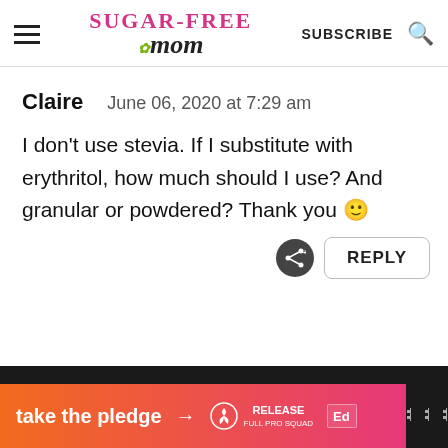Sugar-Free Mom — SUBSCRIBE
Claire   June 06, 2020 at 7:29 am
I don't use stevia. If I substitute with erythritol, how much should I use? And granular or powdered? Thank you 🙂
REPLY
[Figure (infographic): Orange-to-pink gradient ad banner reading 'take the pledge →' with RELEASE logo and ad icons, followed by a black strip on the right]